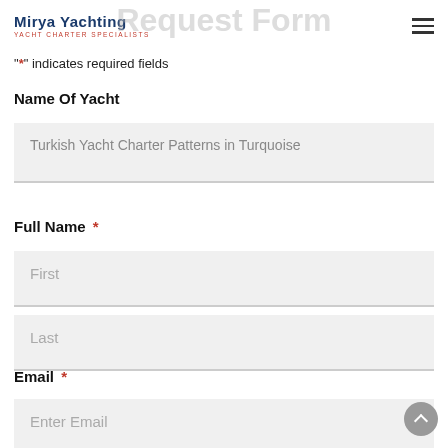Mirya Yachting — YACHT CHARTER SPECIALISTS
Request Form
"*" indicates required fields
Name Of Yacht
Turkish Yacht Charter Patterns in Turquoise
Full Name *
First
Last
Email *
Enter Email